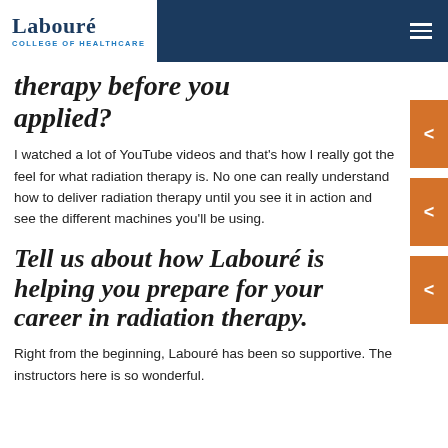Labouré COLLEGE OF HEALTHCARE
therapy before you applied?
I watched a lot of YouTube videos and that's how I really got the feel for what radiation therapy is. No one can really understand how to deliver radiation therapy until you see it in action and see the different machines you'll be using.
Tell us about how Labouré is helping you prepare for your career in radiation therapy.
Right from the beginning, Labouré has been so supportive. The instructors here is so wonderful.